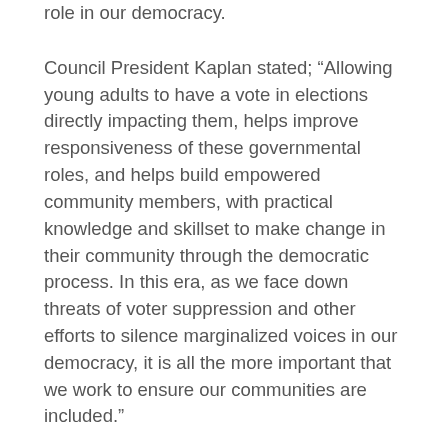role in our democracy.
Council President Kaplan stated; “Allowing young adults to have a vote in elections directly impacting them, helps improve responsiveness of these governmental roles, and helps build empowered community members, with practical knowledge and skillset to make change in their community through the democratic process. In this era, as we face down threats of voter suppression and other efforts to silence marginalized voices in our democracy, it is all the more important that we work to ensure our communities are included.”
Oakland Kids First and All City Council launched the Oakland Youth Vote coalition and built alliances with community-based organizations